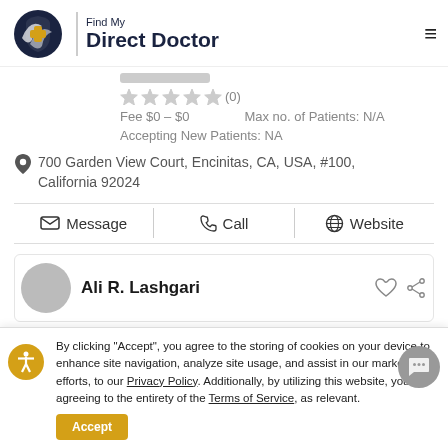[Figure (logo): Find My Direct Doctor logo with shield icon]
★★★★★ (0)
Fee $0 – $0    Max no. of Patients: N/A
Accepting New Patients: NA
700 Garden View Court, Encinitas, CA, USA, #100, California 92024
Message   Call   Website
Ali R. Lashgari
By clicking "Accept", you agree to the storing of cookies on your device to enhance site navigation, analyze site usage, and assist in our marketing efforts, to our Privacy Policy. Additionally, by utilizing this website, you are agreeing to the entirety of the Terms of Service, as relevant.
Accept